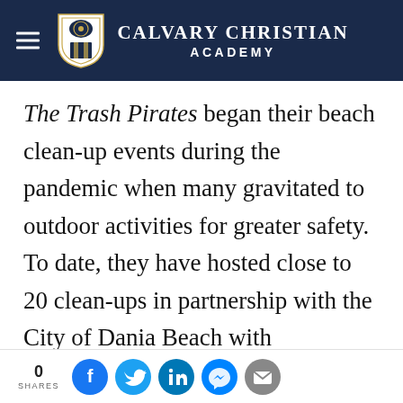Calvary Christian Academy
The Trash Pirates began their beach clean-up events during the pandemic when many gravitated to outdoor activities for greater safety. To date, they have hosted close to 20 clean-ups in partnership with the City of Dania Beach with individuals of all ages and backgrounds in attendance, including students seeking community service hours. With so many hands on (the
0 SHARES [Facebook] [Twitter] [LinkedIn] [Messenger] [Email]